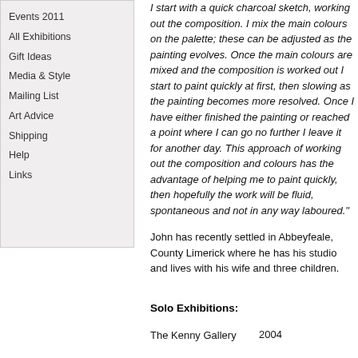Events 2011
All Exhibitions
Gift Ideas
Media & Style
Mailing List
Art Advice
Shipping
Help
Links
I start with a quick charcoal sketch, working out the composition. I mix the main colours on the palette; these can be adjusted as the painting evolves. Once the main colours are mixed and the composition is worked out I start to paint quickly at first, then slowing as the painting becomes more resolved. Once I have either finished the painting or reached a point where I can go no further I leave it for another day. This approach of working out the composition and colours has the advantage of helping me to paint quickly, then hopefully the work will be fluid, spontaneous and not in any way laboured."
John has recently settled in Abbeyfeale, County Limerick where he has his studio and lives with his wife and three children.
Solo Exhibitions:
The Kenny Gallery    2004
Two-Man Exhibitions:
Daffodil Gallery, Dublin    2002
Green Gallery, Dublin    2005